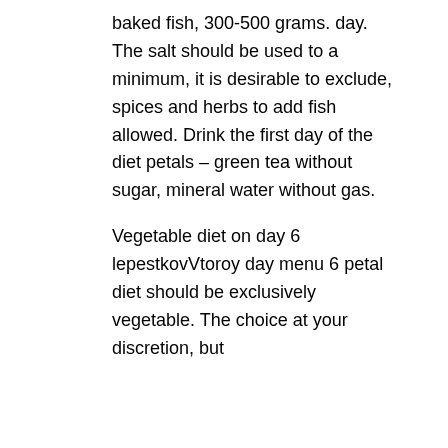baked fish, 300-500 grams. day. The salt should be used to a minimum, it is desirable to exclude, spices and herbs to add fish allowed. Drink the first day of the diet petals – green tea without sugar, mineral water without gas.
Vegetable diet on day 6 lepestkovVtoroy day menu 6 petal diet should be exclusively vegetable. The choice at your discretion, but